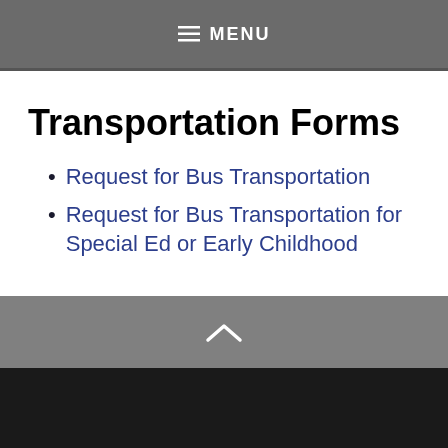≡ MENU
Transportation Forms
Request for Bus Transportation
Request for Bus Transportation for Special Ed or Early Childhood
Visit Us